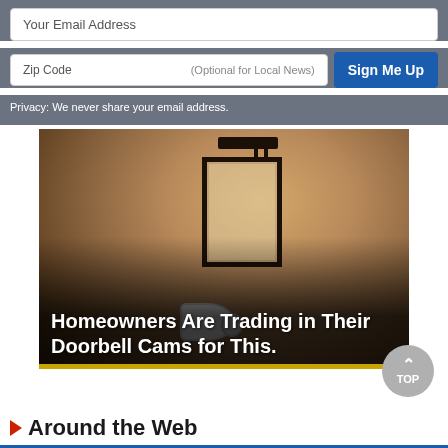Your Email Address
Zip Code    (Optional for Local News)
Sign Me Up
Privacy: We never share your email address.
[Figure (photo): Advertisement photo showing an outdoor wall lantern/lamp with a security camera, with overlay text 'Homeowners Are Trading in Their Doorbell Cams for This.']
Around the Web
[Figure (photo): Partial photo of a bald elderly person's head, cropped at bottom of page]